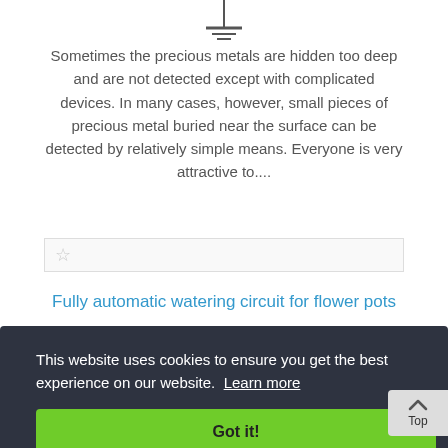[Figure (schematic): Partial circuit diagram symbol at top center — ground/T-bar symbol]
Sometimes the precious metals are hidden too deep and are not detected except with complicated devices. In many cases, however, small pieces of precious metal buried near the surface can be detected by relatively simple means. Everyone is very attractive to....
[Figure (other): Star/favorite icon outline inside a light gray bordered box]
Fully automatic watering circuit for flower pots
[Figure (circuit-diagram): Partial circuit schematic for automatic watering circuit including battery symbol, op-amp, resistors, capacitors, relay, motor, and thyristor components]
This website uses cookies to ensure you get the best experience on our website. Learn more
Got it!